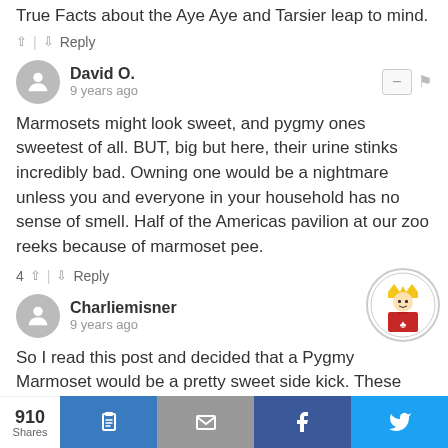True Facts about the Aye Aye and Tarsier leap to mind.
^ | v Reply
David O.
9 years ago
Marmosets might look sweet, and pygmy ones sweetest of all. BUT, big but here, their urine stinks incredibly bad. Owning one would be a nightmare unless you and everyone in your household has no sense of smell. Half of the Americas pavilion at our zoo reeks because of marmoset pee.
4 ^ | v Reply
Charliemisner
9 years ago
So I read this post and decided that a Pygmy Marmoset would be a pretty sweet side kick. These guys don't sell Pygmys but a baby regular Marmoset might make a decent
910 Shares